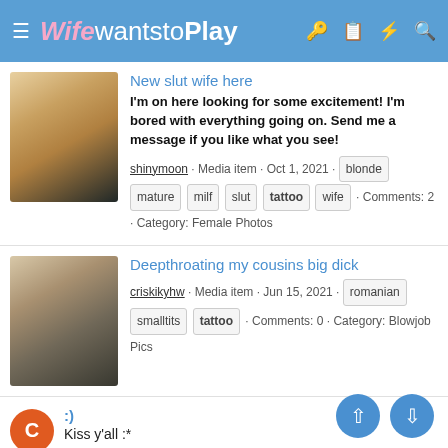Wife wants to Play
New slut wife here
I'm on here looking for some excitement! I'm bored with everything going on. Send me a message if you like what you see!
shinymoon · Media item · Oct 1, 2021 · blonde · mature · milf · slut · tattoo · wife · Comments: 2 · Category: Female Photos
Deepthroating my cousins big dick
criskikyhw · Media item · Jun 15, 2021 · romanian · smalltits · tattoo · Comments: 0 · Category: Blowjob Pics
:)
Kiss y'all :*
crisulika · Thread · Apr 25, 2020 · brunette · bu... · petite · pussy · short hair · slim · slut · small tits · tattoo